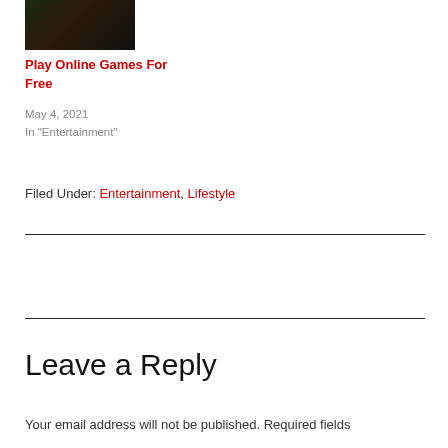[Figure (photo): Thumbnail image of a gaming-related product or scene with dark background and green text]
Play Online Games For Free
May 4, 2021
In "Entertainment"
Filed Under: Entertainment, Lifestyle
Leave a Reply
Your email address will not be published. Required fields